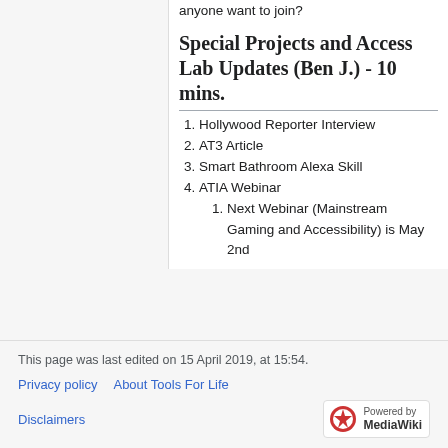anyone want to join?
Special Projects and Access Lab Updates (Ben J.) - 10 mins.
1. Hollywood Reporter Interview
2. AT3 Article
3. Smart Bathroom Alexa Skill
4. ATIA Webinar
1. Next Webinar (Mainstream Gaming and Accessibility) is May 2nd
This page was last edited on 15 April 2019, at 15:54.
Privacy policy   About Tools For Life   Disclaimers